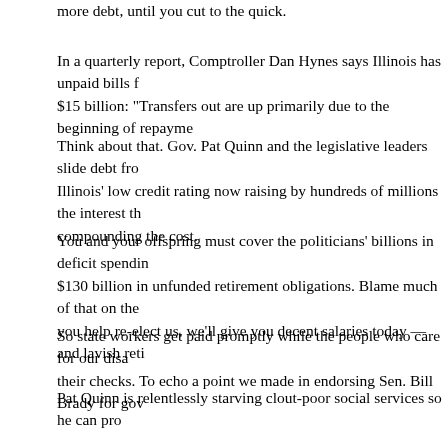more debt, until you cut to the quick.
In a quarterly report, Comptroller Dan Hynes says Illinois has unpaid bills for $15 billion: "Transfers out are up primarily due to the beginning of repayme...
Think about that. Gov. Pat Quinn and the legislative leaders slide debt from Illinois' low credit rating now raising by hundreds of millions the interest tha... compounding the cost.
You and your offspring must cover the politicians' billions in deficit spendin... $130 billion in unfunded retirement obligations. Blame much of that on the... you help re-elect us, we'll give you decent salaries today — and lavish reti...
So state workers get paid promptly while the people who care for our disab... their checks. To echo a point we made in endorsing Sen. Bill Brady for gov...
Pat Quinn is relentlessly starving clout-poor social services so he can prot... supporters. That's a raw injustice.
•••
It's game time. Early voting has begun.
The pols responsible for the Illinois death spiral trust that you won't hold th...
But you should hold them. Now.